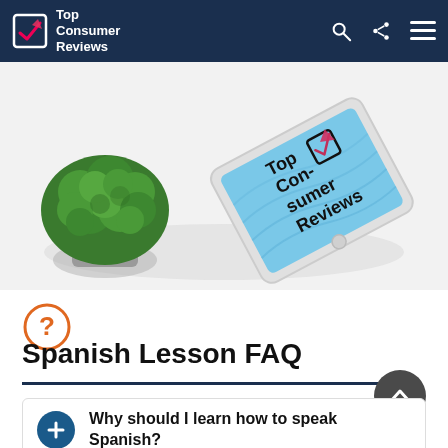Top Consumer Reviews
[Figure (photo): Hero image showing a green plant in a pot (left) and a tablet displaying 'Top Consumer Reviews' logo (right), on a white/grey background]
[Figure (illustration): Orange question mark circle icon for FAQ section]
Spanish Lesson FAQ
Why should I learn how to speak Spanish?